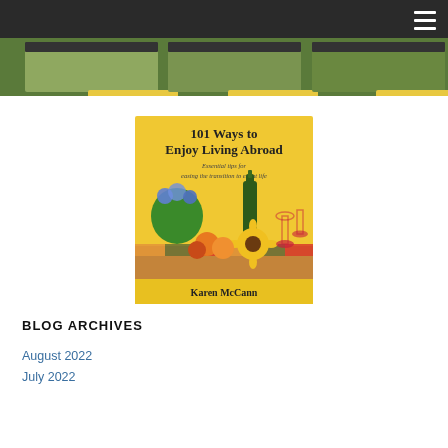[Figure (photo): Website banner showing three book covers by Karen McCann against a garden/nature background, with a dark top navigation bar and hamburger menu icon.]
[Figure (photo): Book cover of '101 Ways to Enjoy Living Abroad: Essential Tips for Easing the Transition to Expat Life' by Karen McCann. Yellow background with a still-life painting of flowers, wine, fruit, and a sunflower.]
BLOG ARCHIVES
August 2022
July 2022